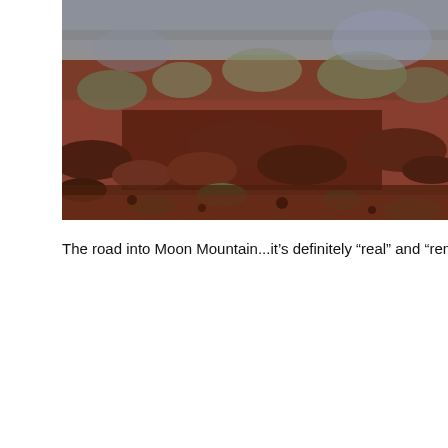[Figure (photo): Photograph of a rocky red dirt road or landscape leading into Moon Mountain, Africa. The terrain features red/orange rocks and boulders scattered across the ground with sparse scrubby vegetation and dry bushes in muted green and brown tones. The sky is overcast or gray at the top of the image.]
The road into Moon Mountain...it's definitely “real” and “remote” Afric